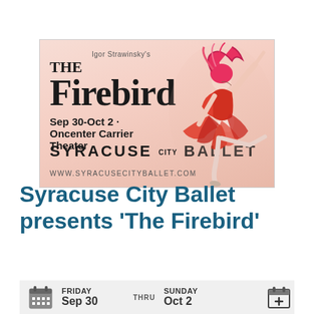[Figure (illustration): Syracuse City Ballet advertisement banner for The Firebird. Features decorative mirrored text reading 'The Firebird', subtitle 'Igor Strawinsky's', dates 'Sep 30-Oct 2 - Oncenter Carrier Theater', 'SYRACUSE CITY BALLET' logo, website 'WWW.SYRACUSECITYBALLET.COM', and an illustration of a ballet dancer in red costume on the right side.]
Syracuse City Ballet presents 'The Firebird'
FRIDAY Sep 30 THRU SUNDAY Oct 2